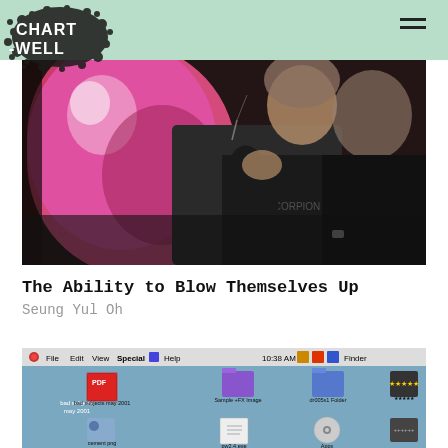Chartwell
[Figure (photo): Person blowing up a large pink/magenta balloon, close-up photo, dark background]
The Ability to Blow Themselves Up
Seung Yul Oh
[Figure (screenshot): Screenshot of a classic Mac OS desktop (Finder) showing file icons including 'bad subjects may 2001', 'Sample +FX Image', 'dr005s1 Folder', 'cement png', 'pw2.4.exe', 'Apps', and others. Menu bar shows File, Edit, View, Special, Help, and time 10:38 AM with Finder label.]